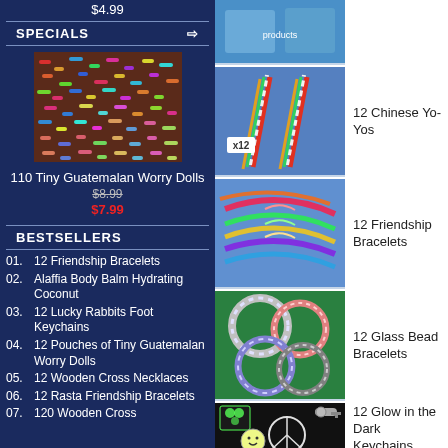$4.99
SPECIALS
[Figure (photo): 110 Tiny Guatemalan Worry Dolls — colorful pile of tiny dolls]
110 Tiny Guatemalan Worry Dolls
$8.99 (strikethrough), $7.99 (sale price in red)
BESTSELLERS
01. 12 Friendship Bracelets
02. Alaffia Body Balm Hydrating Coconut
03. 12 Lucky Rabbits Foot Keychains
04. 12 Pouches of Tiny Guatemalan Worry Dolls
05. 12 Wooden Cross Necklaces
06. 12 Rasta Friendship Bracelets
07. 120 Wooden Cross
[Figure (photo): Top right product image on blue background]
[Figure (photo): 12 Chinese Yo-Yos — colorful sticks with x12 label]
12 Chinese Yo-Yos
[Figure (photo): 12 Friendship Bracelets — colorful braided bracelets on blue]
12 Friendship Bracelets
[Figure (photo): 12 Glass Bead Bracelets — sparkly bracelets on green]
12 Glass Bead Bracelets
[Figure (photo): 12 Glow in the Dark Keychains — peace signs, smiley faces, yin-yang]
12 Glow in the Dark Keychains